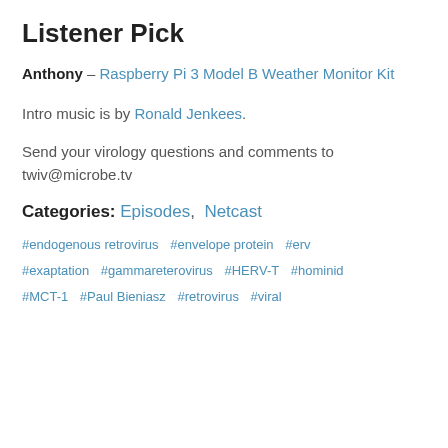Listener Pick
Anthony – Raspberry Pi 3 Model B Weather Monitor Kit
Intro music is by Ronald Jenkees.
Send your virology questions and comments to twiv@microbe.tv
Categories: Episodes, Netcast
#endogenous retrovirus
#envelope protein
#erv
#exaptation
#gammareterovirus
#HERV-T
#hominid
#MCT-1
#Paul Bieniasz
#retrovirus
#viral